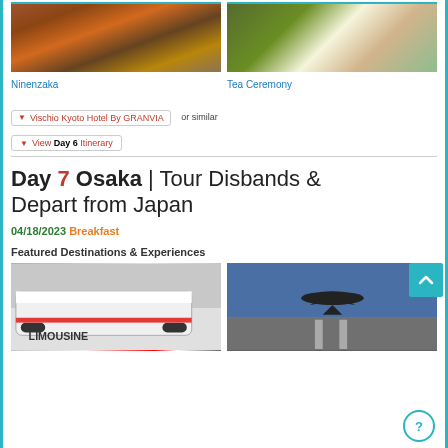[Figure (photo): Ninenzaka street scene at night with people walking]
Ninenzaka
[Figure (photo): Tea ceremony with matcha and sweets]
Tea Ceremony
▼ Vischio Kyoto Hotel By GRANVIA  or similar
▼ View Day 6 Itinerary
Day 7 Osaka | Tour Disbands & Depart from Japan
04/18/2023 Breakfast
Featured Destinations & Experiences
[Figure (photo): Airport limousine bus at terminal]
[Figure (photo): Airplane taking off from runway]